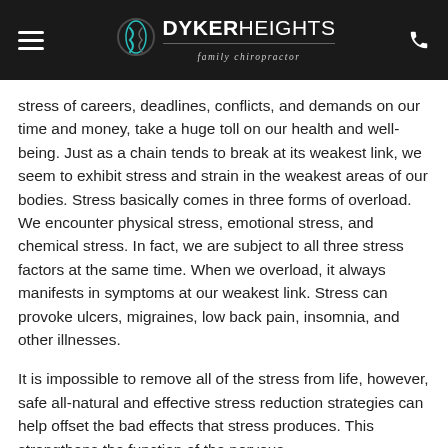DYKER HEIGHTS family chiropractor
stress of careers, deadlines, conflicts, and demands on our time and money, take a huge toll on our health and well-being. Just as a chain tends to break at its weakest link, we seem to exhibit stress and strain in the weakest areas of our bodies. Stress basically comes in three forms of overload. We encounter physical stress, emotional stress, and chemical stress. In fact, we are subject to all three stress factors at the same time. When we overload, it always manifests in symptoms at our weakest link. Stress can provoke ulcers, migraines, low back pain, insomnia, and other illnesses.
It is impossible to remove all of the stress from life, however, safe all-natural and effective stress reduction strategies can help offset the bad effects that stress produces. This strengthens the function of the nervous